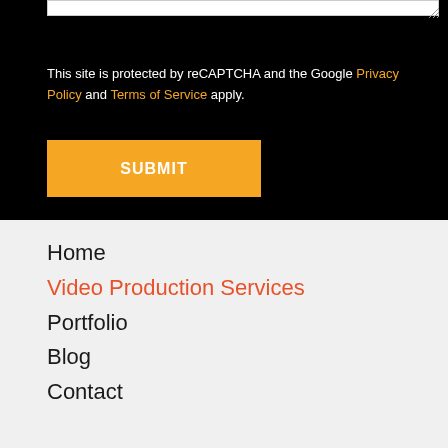This site is protected by reCAPTCHA and the Google Privacy Policy and Terms of Service apply.
SUBMIT
Home
Video Production Services
Portfolio
Blog
Contact